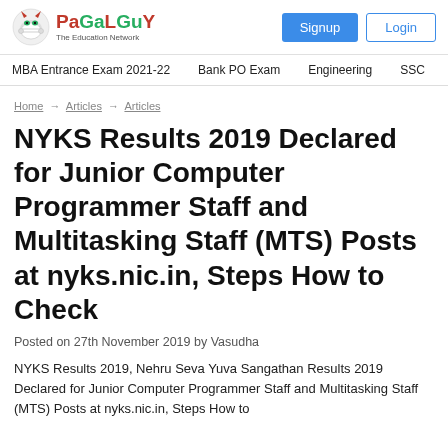PaGaLGuY - The Education Network | Signup | Login
MBA Entrance Exam 2021-22 | Bank PO Exam | Engineering | SSC
Home → Articles → Articles
NYKS Results 2019 Declared for Junior Computer Programmer Staff and Multitasking Staff (MTS) Posts at nyks.nic.in, Steps How to Check
Posted on 27th November 2019 by Vasudha
NYKS Results 2019, Nehru Seva Yuva Sangathan Results 2019 Declared for Junior Computer Programmer Staff and Multitasking Staff (MTS) Posts at nyks.nic.in, Steps How to